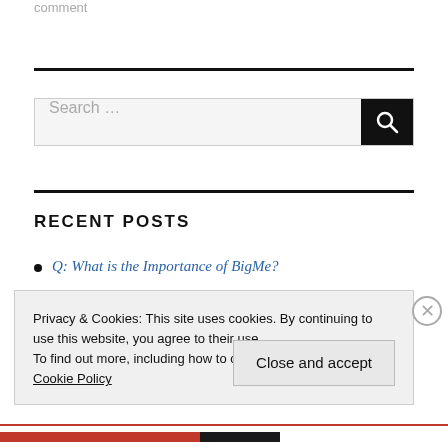comment
Search …
RECENT POSTS
Q: What is the Importance of BigMe?
Privacy & Cookies: This site uses cookies. By continuing to use this website, you agree to their use.
To find out more, including how to control cookies, see here:
Cookie Policy
Close and accept